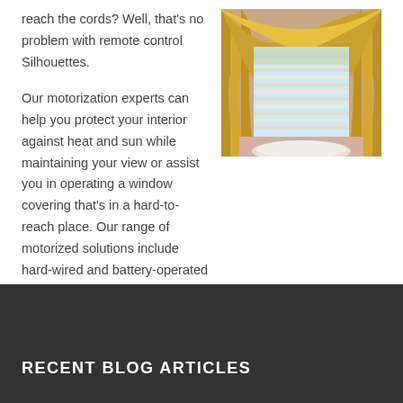reach the cords? Well, that's no problem with remote control Silhouettes.
[Figure (photo): Bathroom window with ornate gold curtains/drapes and white horizontal blinds, circular bathtub visible at bottom]
Our motorization experts can help you protect your interior against heat and sun while maintaining your view or assist you in operating a window covering that's in a hard-to-reach place. Our range of motorized solutions include hard-wired and battery-operated choices for remote control operation. Call us in the Riviera Beach, Hutchinson Island, Okeechobee, FL areas.
RECENT BLOG ARTICLES